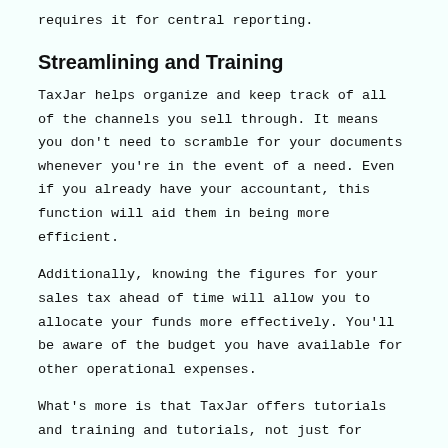requires it for central reporting.
Streamlining and Training
TaxJar helps organize and keep track of all of the channels you sell through. It means you don't need to scramble for your documents whenever you're in the event of a need. Even if you already have your accountant, this function will aid them in being more efficient.
Additionally, knowing the figures for your sales tax ahead of time will allow you to allocate your funds more effectively. You'll be aware of the budget you have available for other operational expenses.
What's more is that TaxJar offers tutorials and training and tutorials, not just for their platform but for anything connected to sales tax. You can check out their guides, webinars, as well as